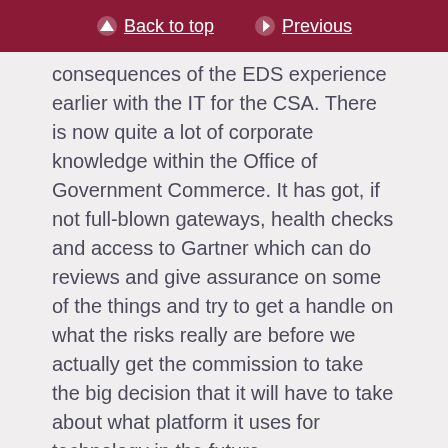Back to top | Previous
consequences of the EDS experience earlier with the IT for the CSA. There is now quite a lot of corporate knowledge within the Office of Government Commerce. It has got, if not full-blown gateways, health checks and access to Gartner which can do reviews and give assurance on some of the things and try to get a handle on what the risks really are before we actually get the commission to take the big decision that it will have to take about what platform it uses for technology in the future.
My personal suspicion is that it has no choice. I would be very surprised if it was not just tied, hook, line and sinker, into this contract. The people who entered into this contract in the department deserve to go to jail. It is a proprietary contract, which ties